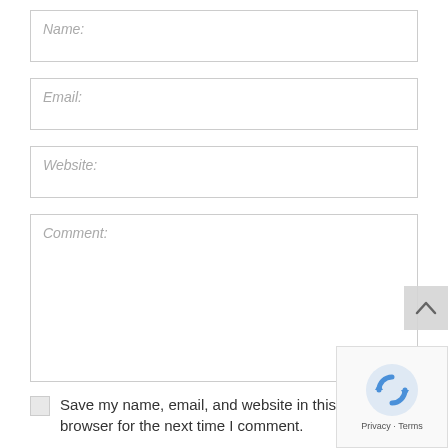Name:
Email:
Website:
Comment:
Save my name, email, and website in this browser for the next time I comment.